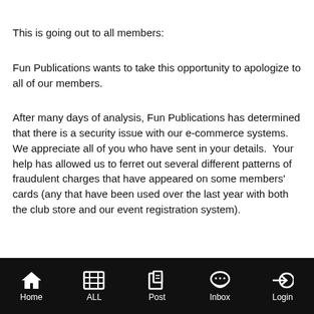This is going out to all members:
Fun Publications wants to take this opportunity to apologize to all of our members.
After many days of analysis, Fun Publications has determined that there is a security issue with our e-commerce systems.  We appreciate all of you who have sent in your details.  Your help has allowed us to ferret out several different patterns of fraudulent charges that have appeared on some members' cards (any that have been used over the last year with both the club store and our event registration system).
Home | ALL | Post | Inbox | Login